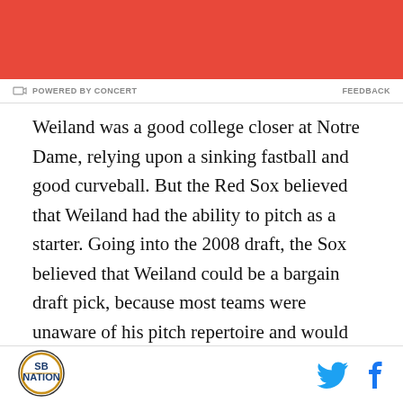[Figure (other): Red banner advertisement area at top of page]
POWERED BY CONCERT   FEEDBACK
Weiland was a good college closer at Notre Dame, relying upon a sinking fastball and good curveball. But the Red Sox believed that Weiland had the ability to pitch as a starter. Going into the 2008 draft, the Sox believed that Weiland could be a bargain draft pick, because most teams were unaware of his pitch repertoire and would view him as
SB Nation logo | Twitter icon | Facebook icon